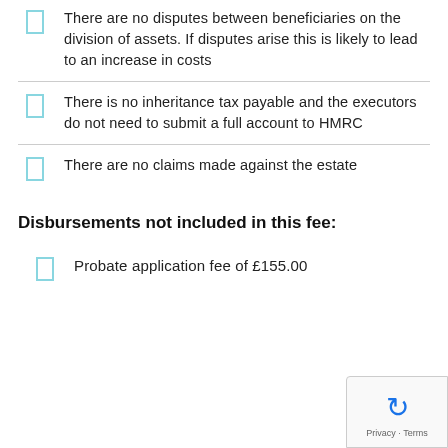There are no disputes between beneficiaries on the division of assets. If disputes arise this is likely to lead to an increase in costs
There is no inheritance tax payable and the executors do not need to submit a full account to HMRC
There are no claims made against the estate
Disbursements not included in this fee:
Probate application fee of £155.00